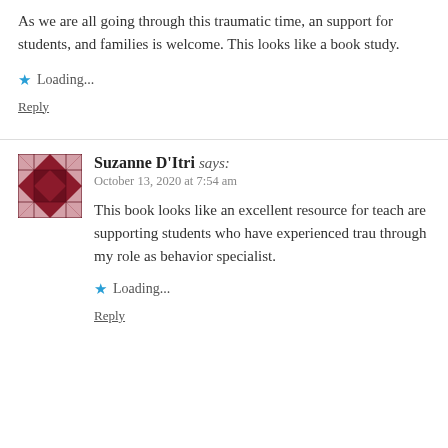As we are all going through this traumatic time, any support for students, and families is welcome. This looks like a great book study.
Loading...
Reply
Suzanne D'Itri says: October 13, 2020 at 7:54 am
This book looks like an excellent resource for teachers who are supporting students who have experienced trauma through my role as behavior specialist.
Loading...
Reply